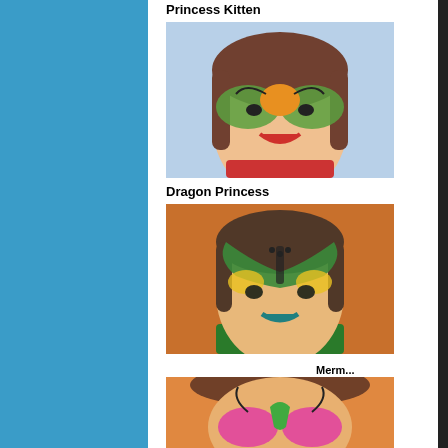[Figure (photo): Child with Princess Kitten face paint design — butterfly/kitten style with green and orange face paint, smiling]
Princess Kitten
[Figure (photo): Child with Dragon Princess face paint design — green and yellow dragon-style face paint with dark accents and teal lips]
Dragon Princess
[Figure (photo): Child with pink and green face paint design at bottom of page]
Merm... beautifu...